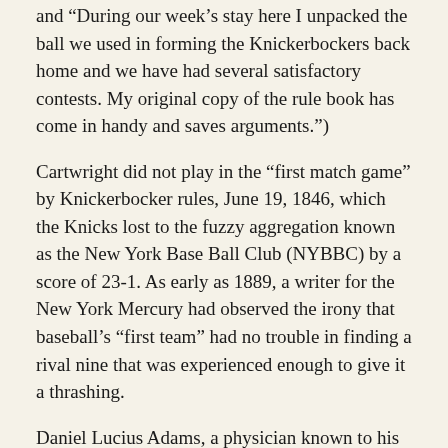and "During our week's stay here I unpacked the ball we used in forming the Knickerbockers back home and we have had several satisfactory contests. My original copy of the rule book has come in handy and saves arguments.")
Cartwright did not play in the “first match game” by Knickerbocker rules, June 19, 1846, which the Knicks lost to the fuzzy aggregation known as the New York Base Ball Club (NYBBC) by a score of 23-1. As early as 1889, a writer for the New York Mercury had observed the irony that baseball’s “first team” had no trouble in finding a rival nine that was experienced enough to give it a thrashing.
Daniel Lucius Adams, a physician known to his friends as “Dock,” was the man who in 1857 actually set the bases at 90 feet apart, who fixed the pitching distance at 45 feet, and who advocated tirelessly for the fly game, seeking to eliminate the sissy rule of permitting outs to be registered with catches on the first bounce. (I first wrote about Adams’ signal role in shaping the modern game in 1992 for Elysian Fields Quarterly.) He also